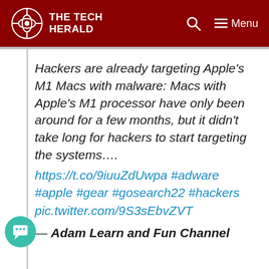THE TECH HERALD
Hackers are already targeting Apple's M1 Macs with malware: Macs with Apple&#39;s M1 processor have only been around for a few months, but it didn&#39;t take long for hackers to start targeting the systems…. https://t.co/9iuuZdUwpa #adware #apple #gear #gosearch22 #hackers pic.twitter.com/9S3sEbvZVT
— Adam Learn and Fun Channel